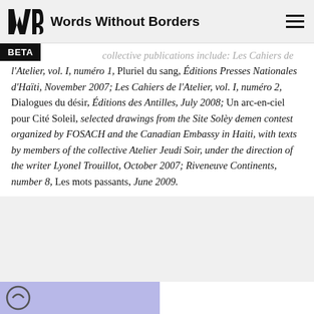Words Without Borders
collective publications include: Les Cahiers de l'Atelier, vol. I, numéro 1, Pluriel du sang, Éditions Presses Nationales d'Haïti, November 2007;  Les Cahiers de l'Atelier, vol. I, numéro 2, Dialogues du désir, Éditions des Antilles, July 2008; Un arc-en-ciel pour Cité Soleil, selected drawings from the Site Solèy demen contest organized by FOSACH and the Canadian Embassy in Haiti, with texts by members of the collective Atelier Jeudi Soir, under the direction of the writer Lyonel Trouillot, October 2007; Riveneuve Continents, number 8, Les mots passants, June 2009.
[Figure (other): Footer image strip with purple/lavender left panel and white right panel, with a partial logo visible on the left]